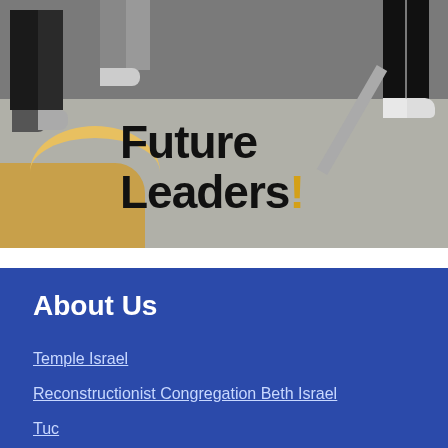[Figure (photo): Outdoor photo showing people's legs and feet standing on pavement. Handwritten text 'Future Leaders!' overlaid on the photo in large black script with a gold exclamation mark.]
About Us
Temple Israel
Reconstructionist Congregation Beth Israel